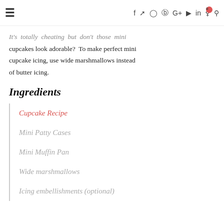≡  f  ✦  ◎  ⊕  G+  ▶  in  🛒0  🔍
It's totally cheating but don't these mini cupcakes look adorable? To make perfect mini cupcake icing, use wide marshmallows instead of butter icing.
Ingredients
Cupcake Recipe
Mini Patty Cases
Mini Muffin Pan
Wide marshmallows
Icing embellishments (optional)